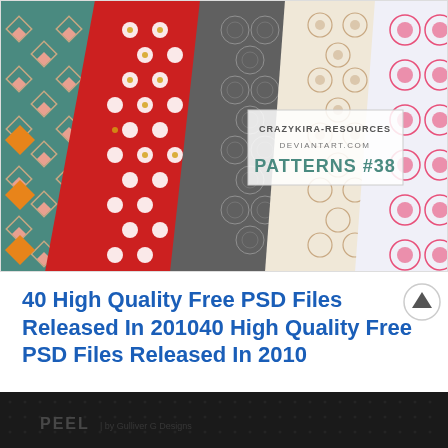[Figure (illustration): Decorative pattern collection preview image showing diagonal strips of various ornamental patterns including teal diamond patterns, red floral patterns, gray medallion patterns, cream floral patterns, and pink circular patterns. Center overlay text reads CRAZYKIRA-RESOURCES DEVIANTART.COM PATTERNS #38]
40 High Quality Free PSD Files Released In 201040 High Quality Free PSD Files Released In 2010
[Figure (screenshot): Bottom portion of a dark/black background image with dot texture pattern and the word PEEL in light gray text followed by 'by Gulliver G Designs' in smaller text]